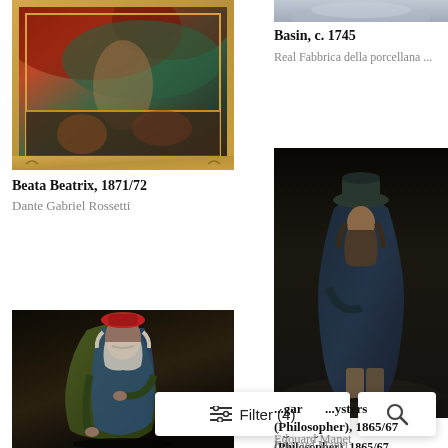[Figure (photo): Painting of Beata Beatrix by Dante Gabriel Rossetti, 1871/72, shown in an ornate gold frame with dark reddish and green tones]
Beata Beatrix, 1871/72
Dante Gabriel Rossetti
[Figure (photo): Partial view of a decorative porcelain basin, c. 1745, by Real Fabbrica della porcellana]
Basin, c. 1745
Real Fabbrica della porcellana ...
[Figure (photo): Painting of a philosopher figure in a dark cloak and hat standing against a dark background, by Édouard Manet, 1865/67]
...gar ...ysters (Philosopher), 1865/67
Édouard Manet
[Figure (photo): Painting of an old man in a red hat and olive cloak against a dark background]
[Figure (screenshot): Filter button showing Filter (4) with slider icon]
[Figure (screenshot): Search button with magnifying glass icon]